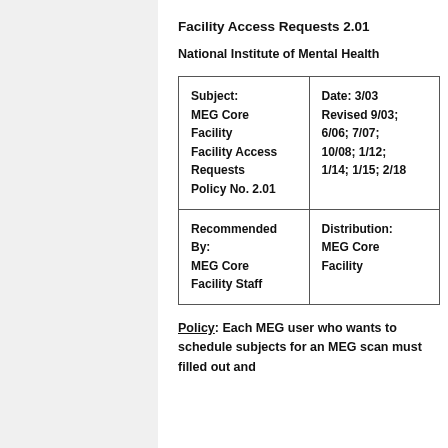Facility Access Requests 2.01
National Institute of Mental Health
| Subject:
MEG Core Facility Facility Access Requests
Policy No. 2.01 | Date: 3/03
Revised 9/03; 6/06; 7/07; 10/08; 1/12;
1/14; 1/15; 2/18 |
| Recommended By:
MEG Core Facility Staff | Distribution:
MEG Core Facility |
Policy: Each MEG user who wants to schedule subjects for an MEG scan must filled out and